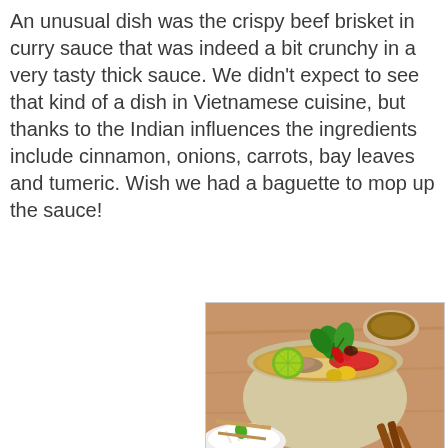An unusual dish was the crispy beef brisket in curry sauce that was indeed a bit crunchy in a very tasty thick sauce. We didn't expect to see that kind of a dish in Vietnamese cuisine, but thanks to the Indian influences the ingredients include cinnamon, onions, carrots, bay leaves and tumeric. Wish we had a baguette to mop up the sauce!
[Figure (photo): A bowl of Vietnamese beef brisket soup (pho-style) garnished with fresh herbs, a lime wedge, red chili peppers, and raw beef. The bowl is cream/beige colored, sitting on a wooden surface. In the background there is a small bowl of dipping sauce and a white plate with bean sprouts and basil. Cinnamon sticks visible in lower right corner.]